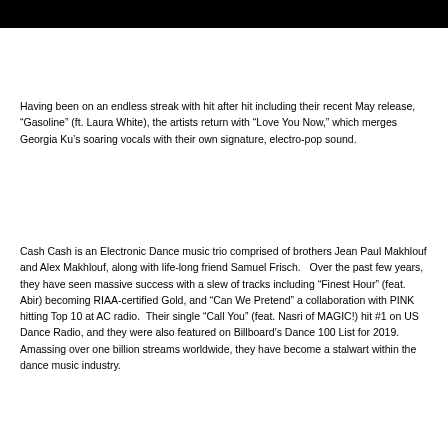[Figure (other): Black header bar spanning the full width of the page]
Having been on an endless streak with hit after hit including their recent May release, “Gasoline” (ft. Laura White), the artists return with “Love You Now,” which merges Georgia Ku’s soaring vocals with their own signature, electro-pop sound.
Cash Cash is an Electronic Dance music trio comprised of brothers Jean Paul Makhlouf and Alex Makhlouf, along with life-long friend Samuel Frisch.   Over the past few years, they have seen massive success with a slew of tracks including “Finest Hour” (feat. Abir) becoming RIAA-certified Gold, and “Can We Pretend” a collaboration with PINK hitting Top 10 at AC radio.  Their single “Call You” (feat. Nasri of MAGIC!) hit #1 on US Dance Radio, and they were also featured on Billboard’s Dance 100 List for 2019. Amassing over one billion streams worldwide, they have become a stalwart within the dance music industry.